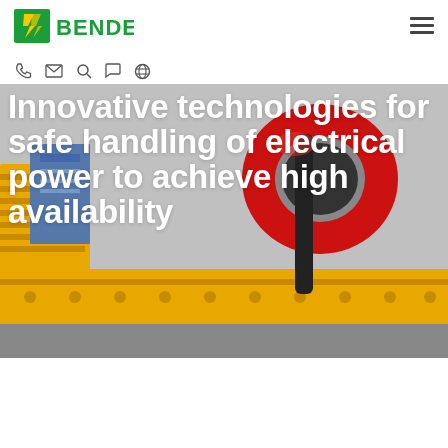[Figure (logo): Bender company logo with green and yellow lightning bolt icon and green BENDER text]
[Figure (other): Navigation hamburger menu icon (three horizontal lines)]
[Figure (other): Navigation icon bar with phone, email/envelope, search, chat/speech bubble, and globe icons]
[Figure (photo): Hero background photo showing yellow DIN rail safety relay modules, a red toroidal current transformer clamp, and gray industrial control equipment]
Innovative technologies for safe handling of electrical power to achieve high availability